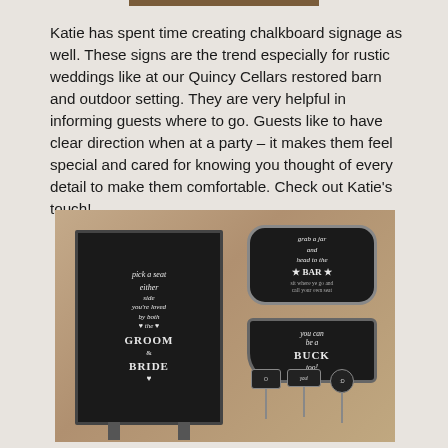Katie has spent time creating chalkboard signage as well. These signs are the trend especially for rustic weddings like at our Quincy Cellars restored barn and outdoor setting. They are very helpful in informing guests where to go. Guests like to have clear direction when at a party – it makes them feel special and cared for knowing you thought of every detail to make them comfortable. Check out Katie's touch!
[Figure (photo): Photo of chalkboard signs laid on a table surface. A large A-frame chalkboard sign reads 'pick a seat either side you're loved by both the Groom & BRIDE'. Two smaller shaped chalkboard signs on the right read 'grab a jar and head to the BAR' and 'you can be a BUCK too!'. Small prop sticks with signs at the bottom right.]